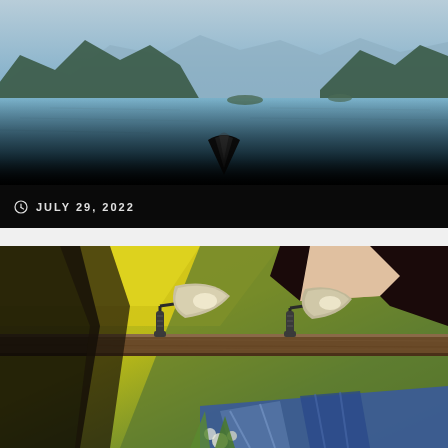[Figure (photo): View from inside a kayak looking out over a calm blue inlet with forested mountains in the background; the kayak bow is visible in the foreground]
BEAUTIFUL, BEAUTIFUL BC
JULY 29, 2022
[Figure (photo): Close-up of a colorful mural on a wooden wall illuminated by two gooseneck barn lamps; the mural depicts a woman's face and upper body with yellow and green tones]